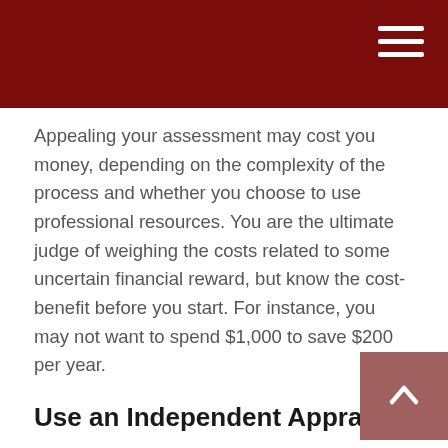Appealing your assessment may cost you money, depending on the complexity of the process and whether you choose to use professional resources. You are the ultimate judge of weighing the costs related to some uncertain financial reward, but know the cost-benefit before you start. For instance, you may not want to spend $1,000 to save $200 per year.
Use an Independent Appraiser
Your appeal will have less credence if the market evaluation is made by a local real estate agent. A comparative appraisal will carry considerably more weight when it is performed by a credible, third-party expert.
Follow All the Rules